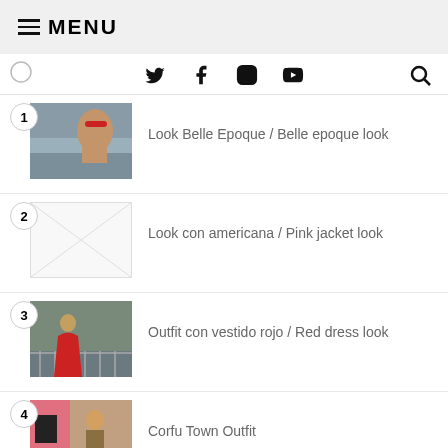≡ MENU
Twitter Facebook Instagram YouTube Search
Look Belle Epoque / Belle epoque look
Look con americana / Pink jacket look
Outfit con vestido rojo / Red dress look
Corfu Town Outfit